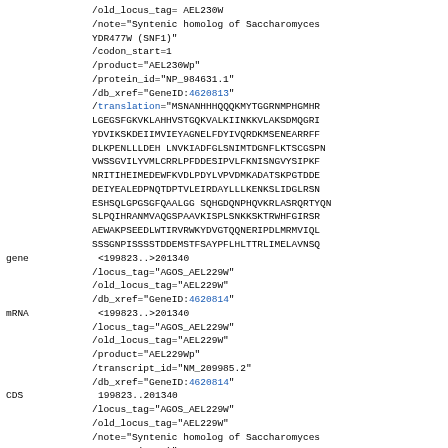/old_locus_tag= AEL230W
/note="Syntenic homolog of Saccharomyces YDR477W (SNF1)"
/codon_start=1
/product="AEL230Wp"
/protein_id="NP_984631.1"
/db_xref="GeneID:4620813"
/translation="MSNANHHHQQQKMYTGGRNMPHGMHR...SSSGNPISSSSTDDEMSTFSAYPFLHLTTRLIMELAVNSQ"
gene <199823..>201340
/locus_tag="AGOS_AEL229W"
/old_locus_tag="AEL229W"
/db_xref="GeneID:4620814"
mRNA <199823..>201340
/locus_tag="AGOS_AEL229W"
/old_locus_tag="AEL229W"
/product="AEL229Wp"
/transcript_id="NM_209985.2"
/db_xref="GeneID:4620814"
CDS 199823..201340
/locus_tag="AGOS_AEL229W"
/old_locus_tag="AEL229W"
/note="Syntenic homolog of Saccharomyces YOR025W (HST2)"